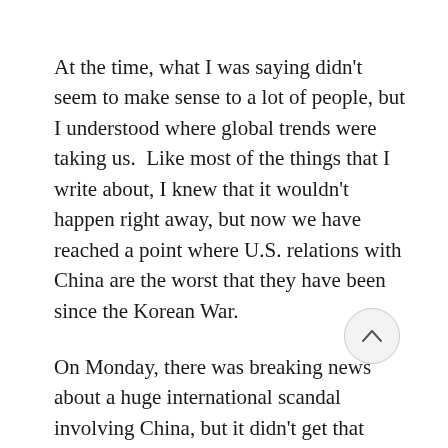At the time, what I was saying didn't seem to make sense to a lot of people, but I understood where global trends were taking us.  Like most of the things that I write about, I knew that it wouldn't happen right away, but now we have reached a point where U.S. relations with China are the worst that they have been since the Korean War.
On Monday, there was breaking news about a huge international scandal involving China, but it didn't get that much coverage